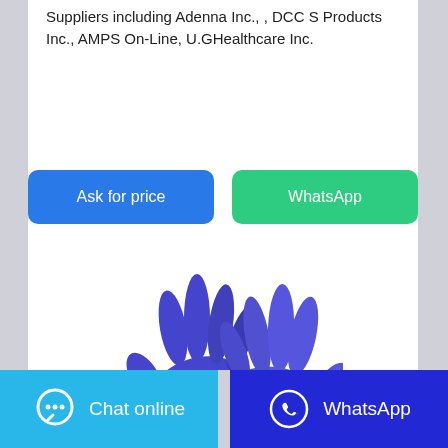Suppliers including Adenna Inc., , DCC S Products Inc., AMPS On-Line, U.GHealthcare Inc.
[Figure (illustration): Two blue nitrile examination gloves shown overlapping, with fingers spread, on a white background.]
Ask for price
WhatsApp
Chat online    WhatsApp